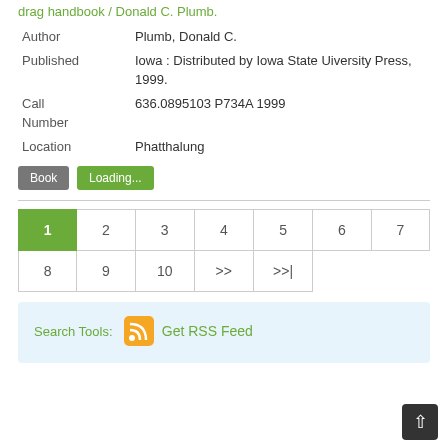drag handbook / Donald C. Plumb.
| Author | Plumb, Donald C. |
| Published | Iowa : Distributed by Iowa State Uiversity Press, 1999. |
| Call Number | 636.0895103 P734A 1999 |
| Location | Phatthalung |
Book   Loading...
1 2 3 4 5 6 7 8 9 10 >> >>|
Search Tools:  Get RSS Feed